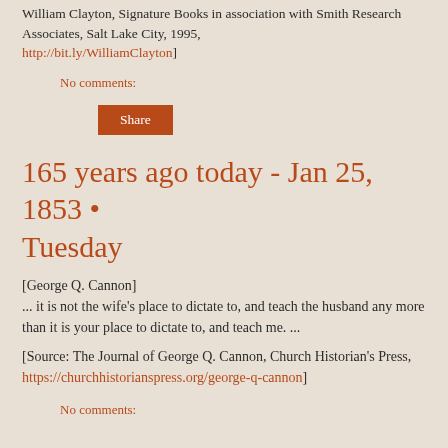William Clayton, Signature Books in association with Smith Research Associates, Salt Lake City, 1995, http://bit.ly/WilliamClayton]
No comments:
Share
165 years ago today - Jan 25, 1853 • Tuesday
[George Q. Cannon]
... it is not the wife's place to dictate to, and teach the husband any more than it is your place to dictate to, and teach me. ...
[Source: The Journal of George Q. Cannon, Church Historian's Press, https://churchhistorianspress.org/george-q-cannon]
No comments: